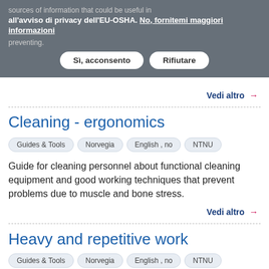sources of information that could be useful in preventing.
all'avviso di privacy dell'EU-OSHA. No, fornitemi maggiori informazioni
Sì, acconsento | Rifiutare
Vedi altro →
Cleaning - ergonomics
Guides & Tools
Norvegia
English , no
NTNU
Guide for cleaning personnel about functional cleaning equipment and good working techniques that prevent problems due to muscle and bone stress.
Vedi altro →
Heavy and repetitive work
Guides & Tools
Norvegia
English , no
NTNU